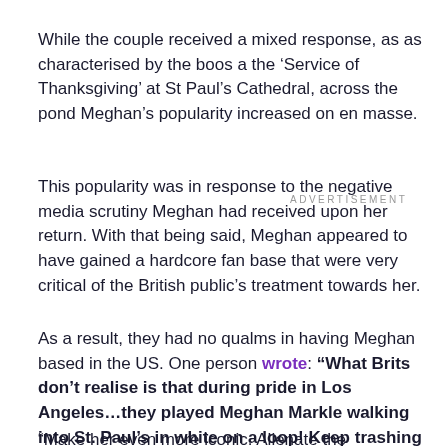While the couple received a mixed response, as as characterised by the boos a the ‘Service of Thanksgiving’ at St Paul’s Cathedral, across the pond Meghan’s popularity increased on en masse.
This popularity was in response to the negative media scrutiny Meghan had received upon her return. With that being said, Meghan appeared to have gained a hardcore fan base that were very critical of the British public’s treatment towards her.
As a result, they had no qualms in having Meghan based in the US. One person wrote: “What Brits don’t realise is that during pride in Los Angeles…they played Meghan Markle walking into St. Paul’s in white on a loop! Keep trashing her.
“Make her even more iconic. Alienate the